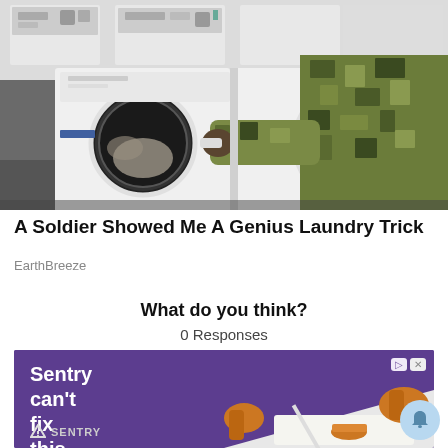[Figure (photo): A soldier in camouflage uniform leaning over to load laundry into a front-loading washing machine in a laundromat with multiple white washers and dryers visible.]
A Soldier Showed Me A Genius Laundry Trick
EarthBreeze
What do you think?
0 Responses
[Figure (screenshot): Advertisement banner for Sentry with purple background showing text 'Sentry can't fix this.' with illustrated figures and Sentry logo at bottom left. Ad badge icons visible at top right.]